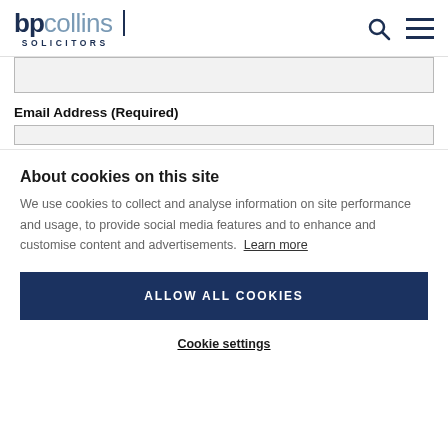bpcollins SOLICITORS
(form input field - empty)
Email Address (Required)
(email input field - empty)
About cookies on this site
We use cookies to collect and analyse information on site performance and usage, to provide social media features and to enhance and customise content and advertisements. Learn more
ALLOW ALL COOKIES
Cookie settings